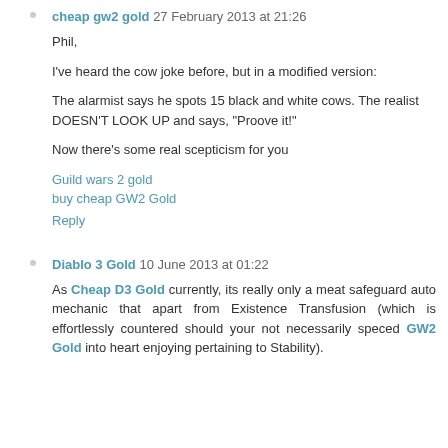cheap gw2 gold  27 February 2013 at 21:26
Phil,
I've heard the cow joke before, but in a modified version:
The alarmist says he spots 15 black and white cows. The realist DOESN'T LOOK UP and says, "Proove it!"
Now there's some real scepticism for you
Guild wars 2 gold
buy cheap GW2 Gold
Reply
Diablo 3 Gold  10 June 2013 at 01:22
As Cheap D3 Gold currently, its really only a meat safeguard auto mechanic that apart from Existence Transfusion (which is effortlessly countered should your not necessarily speced GW2 Gold into heart enjoying pertaining to Stability).